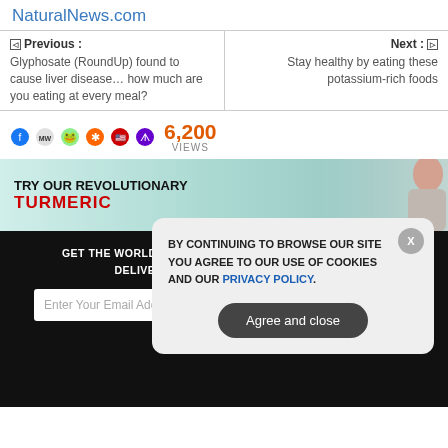NaturalNews.com
◁  Previous : Glyphosate (RoundUp) found to cause liver disease… how much are you eating at every meal?
Next :  ▷ Stay healthy by eating these potassium-rich foods
6,200 VIEWS
[Figure (screenshot): Banner ad: TRY OUR REVOLUTIONARY TURMERIC with person image]
GET THE WORLD'S BEST NATURAL HEALTH NEWSLETTER DELIVERED STRAIGHT TO YOUR INBOX
Enter Your Email Address
SUBSCRIBE
BY CONTINUING TO BROWSE OUR SITE YOU AGREE TO OUR USE OF COOKIES AND OUR PRIVACY POLICY. Agree and close